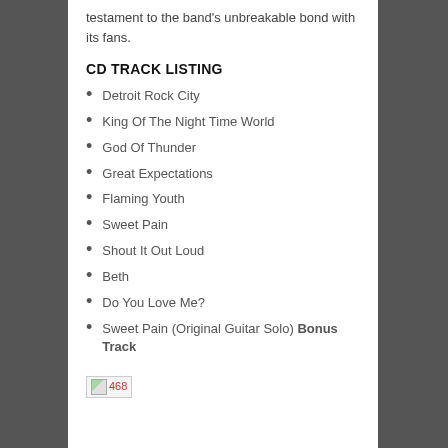testament to the band's unbreakable bond with its fans.
CD TRACK LISTING
Detroit Rock City
King Of The Night Time World
God Of Thunder
Great Expectations
Flaming Youth
Sweet Pain
Shout It Out Loud
Beth
Do You Love Me?
Sweet Pain (Original Guitar Solo) Bonus Track
[Figure (other): Broken image placeholder labeled 468]